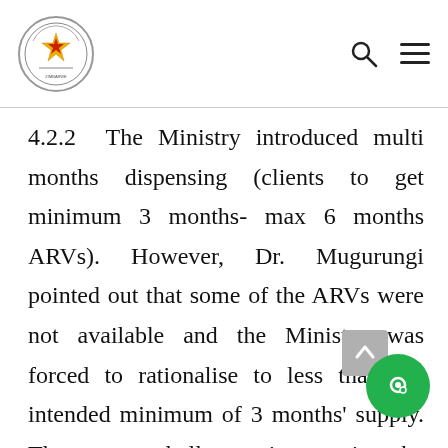Parliament of Zimbabwe logo with search and menu icons
4.2.2 The Ministry introduced multi months dispensing (clients to get minimum 3 months- max 6 months ARVs). However, Dr. Mugurungi pointed out that some of the ARVs were not available and the Ministry was forced to rationalise to less than the intended minimum of 3 months' supply. There were challenges in sourcing the medicines from source countries due to lock down restrictions.